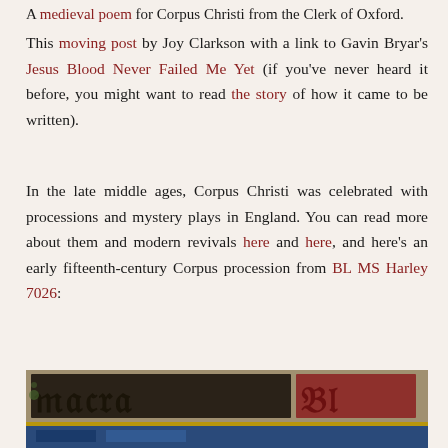A medieval poem for Corpus Christi from the Clerk of Oxford.
This moving post by Joy Clarkson with a link to Gavin Bryar's Jesus Blood Never Failed Me Yet (if you've never heard it before, you might want to read the story of how it came to be written).
In the late middle ages, Corpus Christi was celebrated with processions and mystery plays in England. You can read more about them and modern revivals here and here, and here's an early fifteenth-century Corpus procession from BL MS Harley 7026:
[Figure (photo): A photograph of a medieval manuscript page from BL MS Harley 7026, showing Gothic blackletter script in black and red ink on vellum.]